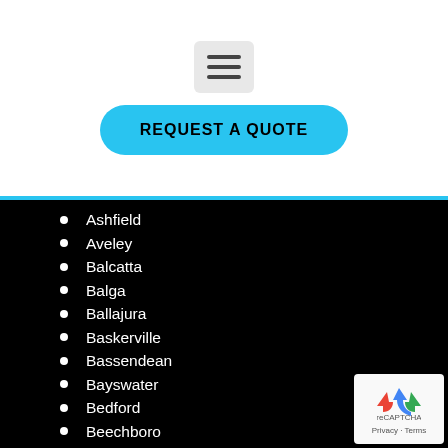[Figure (screenshot): Hamburger menu button (three horizontal lines) on a light grey rounded rectangle background]
REQUEST A QUOTE
Ashfield
Aveley
Balcatta
Balga
Ballajura
Baskerville
Bassendean
Bayswater
Bedford
Beechboro
Beldon
Belhus
Bennett Springs
Brabham
Brigadoon
[Figure (logo): Google reCAPTCHA badge with blue recycling arrow icon and Privacy · Terms text]